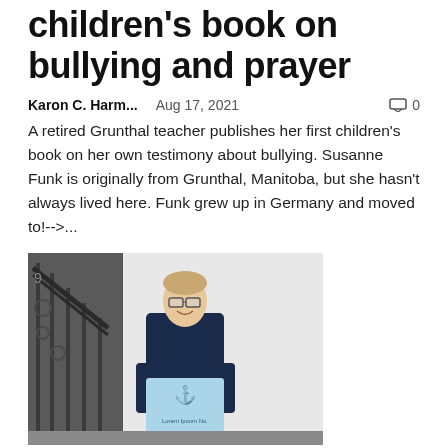children's book on bullying and prayer
Karon C. Harm...    Aug 17, 2021    0
A retired Grunthal teacher publishes her first children's book on her own testimony about bullying. Susanne Funk is originally from Grunthal, Manitoba, but she hasn't always lived here. Funk grew up in Germany and moved to!-->...
[Figure (photo): Young man with glasses in dark jacket holding a light blue box/book, standing in front of a staircase railing]
Bookworm to businessman: young man from Bath turns